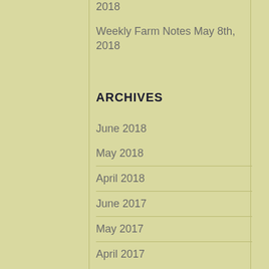2018
Weekly Farm Notes May 8th, 2018
ARCHIVES
June 2018
May 2018
April 2018
June 2017
May 2017
April 2017